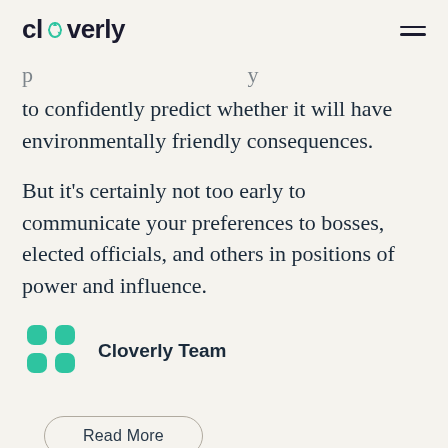cloverly
p… to confidently predict whether it will have environmentally friendly consequences.
But it's certainly not too early to communicate your preferences to bosses, elected officials, and others in positions of power and influence.
Cloverly Team
Read More